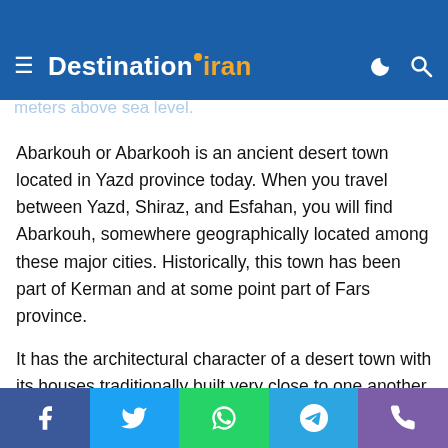Introduction of Abarkouh
DestinationIran — navigation bar
meters above sea level.
Abarkouh or Abarkooh is an ancient desert town located in Yazd province today. When you travel between Yazd, Shiraz, and Esfahan, you will find Abarkouh, somewhere geographically located among these major cities. Historically, this town has been part of Kerman and at some point part of Fars province.
It has the architectural character of a desert town with its houses traditionally built very close to one another and made with vaulted roofs. The main construction material was sun-dried bricks. This is because the entire region around it lacks trees and ample sources of water. However, as a result of underground aqueducts (Karis system) dug by people, the town has
Social share buttons: Facebook, Twitter, WhatsApp, Telegram, Phone